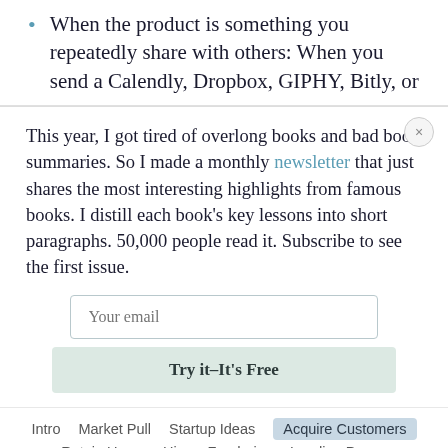When the product is something you repeatedly share with others: When you send a Calendly, Dropbox, GIPHY, Bitly, or
This year, I got tired of overlong books and bad book summaries. So I made a monthly newsletter that just shares the most interesting highlights from famous books. I distill each book's key lessons into short paragraphs. 50,000 people read it. Subscribe to see the first issue.
Your email
Try it–It's Free
Intro   Market Pull   Startup Ideas   Acquire Customers   Retain Users   Hire   Fundraise   Landing Pages   Growth Channels   Growth Teams   Investing Club ↗